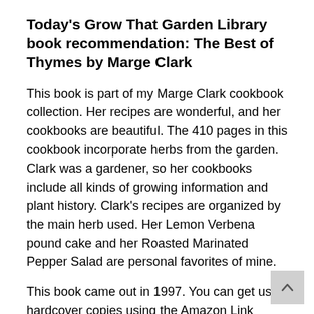Today's Grow That Garden Library book recommendation: The Best of Thymes by Marge Clark
This book is part of my Marge Clark cookbook collection. Her recipes are wonderful, and her cookbooks are beautiful. The 410 pages in this cookbook incorporate herbs from the garden. Clark was a gardener, so her cookbooks include all kinds of growing information and plant history. Clark's recipes are organized by the main herb used. Her Lemon Verbena pound cake and her Roasted Marinated Pepper Salad are personal favorites of mine.
This book came out in 1997. You can get used hardcover copies using the Amazon Link...